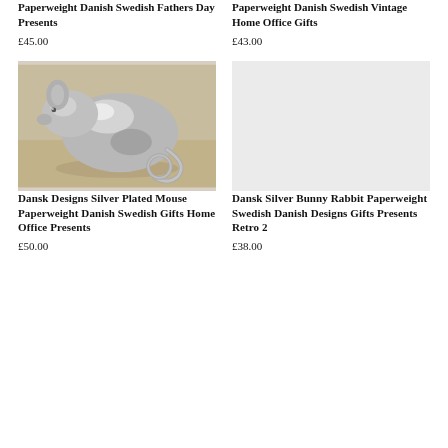Paperweight Danish Swedish Fathers Day Presents
£45.00
Paperweight Danish Swedish Vintage Home Office Gifts
£43.00
[Figure (photo): Silver plated mouse paperweight figurine on a sandy/beige surface]
Dansk Designs Silver Plated Mouse Paperweight Danish Swedish Gifts Home Office Presents
£50.00
[Figure (photo): Light grey placeholder image for Dansk Silver Bunny Rabbit Paperweight]
Dansk Silver Bunny Rabbit Paperweight Swedish Danish Designs Gifts Presents Retro 2
£38.00